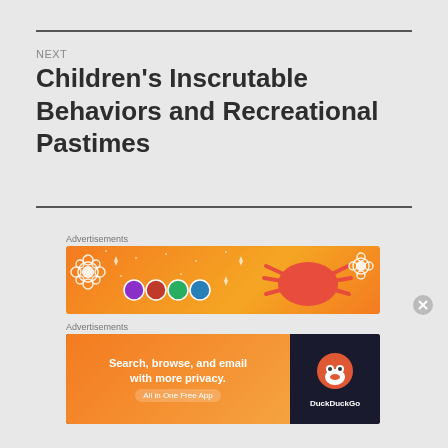NEXT
Children's Inscrutable Behaviors and Recreational Pastimes
Advertisements
[Figure (illustration): Orange advertisement banner with white decorative flowers, colorful dice/gems, and a cartoon crab illustration]
Advertisements
[Figure (illustration): DuckDuckGo advertisement banner: 'Search, browse, and email with more privacy. All in One Free App' with DuckDuckGo logo]